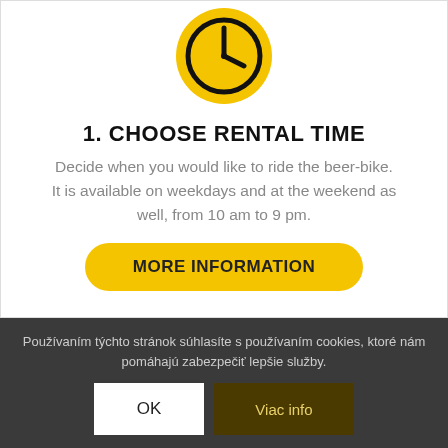[Figure (illustration): Yellow circle with a black clock icon showing approximately 4:30]
1. CHOOSE RENTAL TIME
Decide when you would like to ride the beer-bike. It is available on weekdays and at the weekend as well, from 10 am to 9 pm.
MORE INFORMATION
Používaním týchto stránok súhlasíte s používaním cookies, ktoré nám pomáhajú zabezpečiť lepšie služby.
OK
Viac info